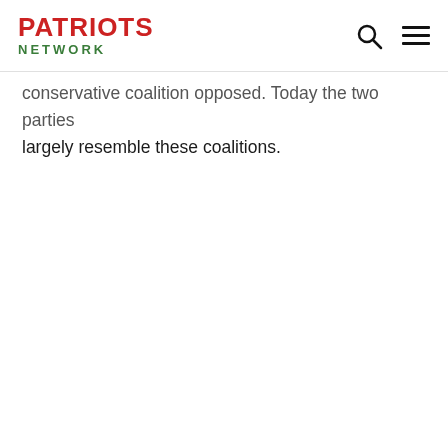PATRIOTS NETWORK
conservative coalition opposed. Today the two parties largely resemble these coalitions.